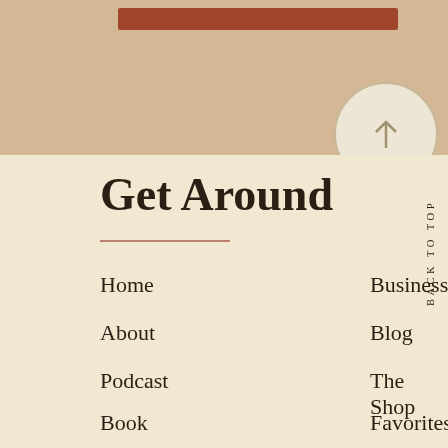[Figure (other): Decorative top band with terracotta/rust colored horizontal bar and a circular back-to-top button with upward arrow]
Get Around
Home
About
Podcast
Book
Contact
Business
Blog
The Shop
Favorites
Partnerships
BACK TO TOP